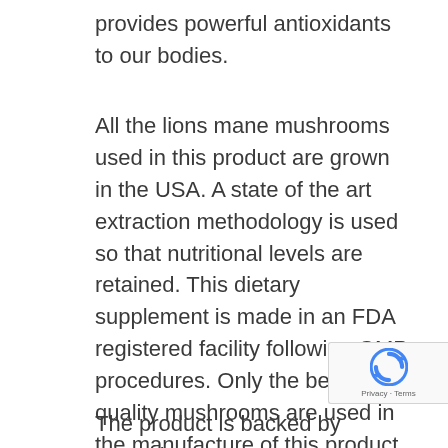provides powerful antioxidants to our bodies.
All the lions mane mushrooms used in this product are grown in the USA. A state of the art extraction methodology is used so that nutritional levels are retained. This dietary supplement is made in an FDA registered facility following GMP procedures. Only the best quality mushrooms are used in the manufacture of this product. Each lions mane mushroom is hand-picked with a check on its quality.
The product is backed by extensive
[Figure (other): Google reCAPTCHA badge with spinning arrows logo and Privacy · Terms text]